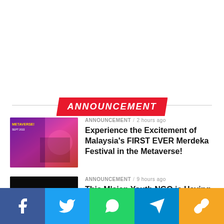ANNOUNCEMENT
[Figure (photo): Thumbnail image for Merdeka Festival in the Metaverse article — colorful festival promotional graphic]
ANNOUNCEMENT / 2 hours ago
Experience the Excitement of Malaysia's FIRST EVER Merdeka Festival in the Metaverse!
[Figure (photo): Thumbnail image for M'sian Youth NGO Marathon article — black image]
ANNOUNCEMENT / 9 hours ago
This M'sian Youth NGO is Having a Marathon to Connect Local Communities & You Can Join Too!
Social share bar: Facebook, Twitter, WhatsApp, Telegram, Share